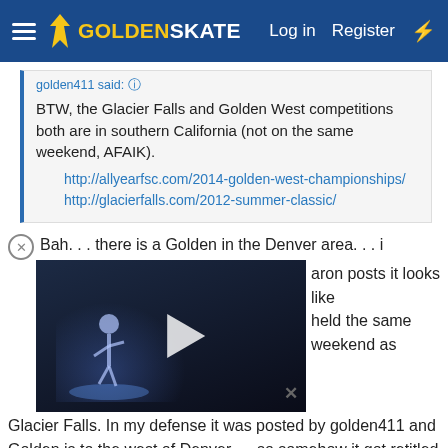GoldenSkate — Log in  Register
golden411 said:
BTW, the Glacier Falls and Golden West competitions both are in southern California (not on the same weekend, AFAIK).
http://allyearfsc.com/2014-golden-west-championships/
http://glacierfalls.com/2012-summer-classic/
Bah. . . there is a Golden in the Denver area. . . i [something] with Golden in the name.
[Figure (screenshot): Video thumbnail showing a figure skater with a play button overlay on a dark background]
aron posts it looks like held the same weekend as Glacier Falls. In my defense it was posted by golden411 and Golden is to the west of Denver. . . so somehow it got retitled in my head I think.